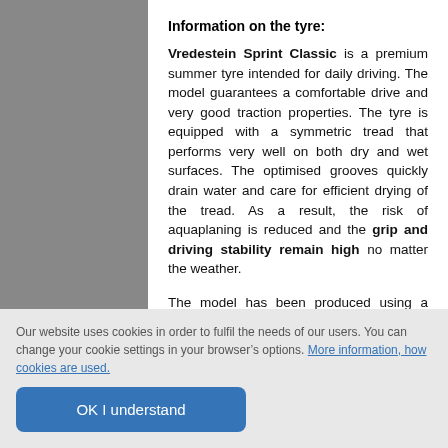Information on the tyre:
Vredestein Sprint Classic is a premium summer tyre intended for daily driving. The model guarantees a comfortable drive and very good traction properties. The tyre is equipped with a symmetric tread that performs very well on both dry and wet surfaces. The optimised grooves quickly drain water and care for efficient drying of the tread. As a result, the risk of aquaplaning is reduced and the grip and driving stability remain high no matter the weather.

The model has been produced using a modern compound with the addition of
Our website uses cookies in order to fulfil the needs of our users. You can change your cookie settings in your browser’s options. More information, how cookies are used.
OK I understand